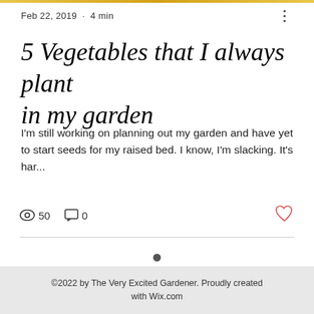Feb 22, 2019 · 4 min
5 Vegetables that I always plant in my garden
I'm still working on planning out my garden and have yet to start seeds for my raised bed. I know, I'm slacking. It's har...
50 views · 0 comments
[Figure (infographic): Social media icons: Instagram, Facebook, Twitter, TikTok]
©2022 by The Very Excited Gardener. Proudly created with Wix.com